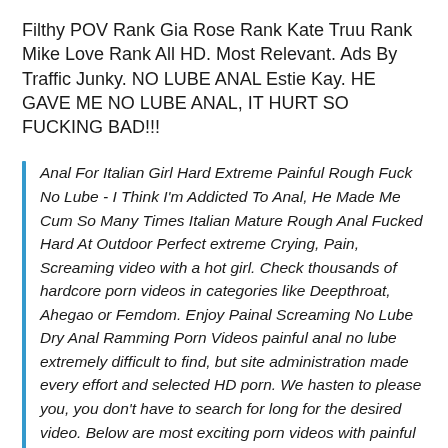Filthy POV Rank Gia Rose Rank Kate Truu Rank Mike Love Rank All HD. Most Relevant. Ads By Traffic Junky. NO LUBE ANAL Estie Kay. HE GAVE ME NO LUBE ANAL, IT HURT SO FUCKING BAD!!!
Anal For Italian Girl Hard Extreme Painful Rough Fuck No Lube - I Think I'm Addicted To Anal, He Made Me Cum So Many Times Italian Mature Rough Anal Fucked Hard At Outdoor Perfect extreme Crying, Pain, Screaming video with a hot girl. Check thousands of hardcore porn videos in categories like Deepthroat, Ahegao or Femdom. Enjoy Painal Screaming No Lube Dry Anal Ramming Porn Videos painful anal no lube extremely difficult to find, but site administration made every effort and selected HD porn. We hasten to please you, you don't have to search for long for the desired video. Below are most exciting porn videos with painful anal no lube in HD quality. On our porn site you can see light erotica where the plot has painful anal no lube